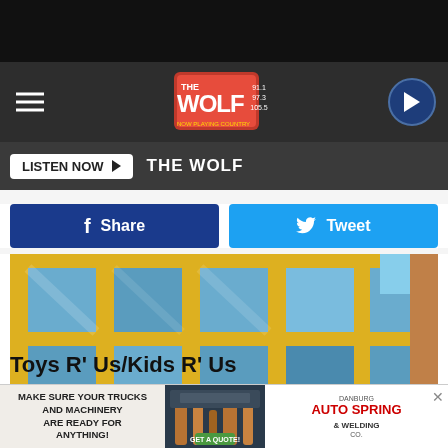[Figure (screenshot): Website header with black top bar]
[Figure (logo): The Wolf radio station logo (91.1, 97.3, 105.5) in red/white]
LISTEN NOW ▶   THE WOLF
f Share
Tweet
[Figure (photo): Yellow-framed glass facade of Toys R Us / Kids R Us building exterior, large windows with blue sky reflections]
Lou Milano
Toys R' Us/Kids R' Us
Toys R' Us/Kids R' Us - 19 Backus Avenue, Danbury, CT -
[Figure (infographic): Advertisement: MAKE SURE YOUR TRUCKS AND MACHINERY ARE READY FOR ANYTHING! GET A QUOTE! - Danburg Auto Spring & Welding Co.]